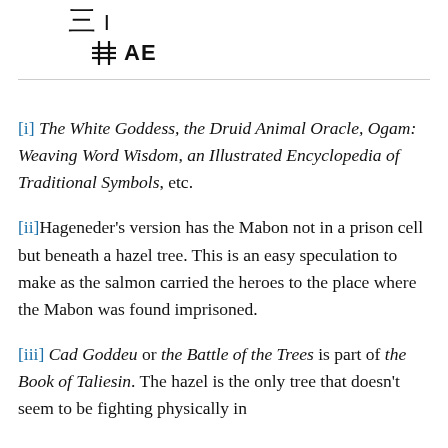[Figure (other): Ogham or symbolic character with vertical stroke and horizontal ticks, resembling a staffed musical symbol, above a grid/hashtag icon with the text 'AE' beside it]
[i] The White Goddess, the Druid Animal Oracle, Ogam: Weaving Word Wisdom, an Illustrated Encyclopedia of Traditional Symbols, etc.
[ii]Hageneder's version has the Mabon not in a prison cell but beneath a hazel tree. This is an easy speculation to make as the salmon carried the heroes to the place where the Mabon was found imprisoned.
[iii] Cad Goddeu or the Battle of the Trees is part of the Book of Taliesin. The hazel is the only tree that doesn't seem to be fighting physically in